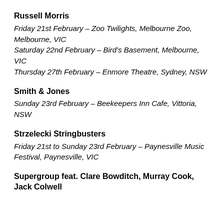Russell Morris
Friday 21st February – Zoo Twilights, Melbourne Zoo, Melbourne, VIC
Saturday 22nd February – Bird's Basement, Melbourne, VIC
Thursday 27th February – Enmore Theatre, Sydney, NSW
Smith & Jones
Sunday 23rd February – Beekeepers Inn Cafe, Vittoria, NSW
Strzelecki Stringbusters
Friday 21st to Sunday 23rd February – Paynesville Music Festival, Paynesville, VIC
Supergroup feat. Clare Bowditch, Murray Cook, Jack Colwell